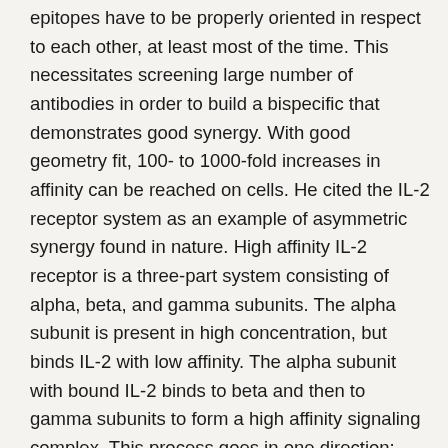epitopes have to be properly oriented in respect to each other, at least most of the time. This necessitates screening large number of antibodies in order to build a bispecific that demonstrates good synergy. With good geometry fit, 100- to 1000-fold increases in affinity can be reached on cells. He cited the IL-2 receptor system as an example of asymmetric synergy found in nature. High affinity IL-2 receptor is a three-part system consisting of alpha, beta, and gamma subunits. The alpha subunit is present in high concentration, but binds IL-2 with low affinity. The alpha subunit with bound IL-2 binds to beta and then to gamma subunits to form a high affinity signaling complex. This process goes in one direction: from alpha to beta and gamma and that is why it is considered